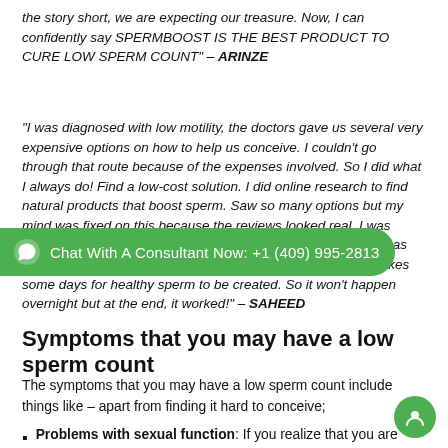the story short, we are expecting our treasure. Now, I can confidently say SPERMBOOST IS THE BEST PRODUCT TO CURE LOW SPERM COUNT" – ARINZE
"I was diagnosed with low motility, the doctors gave us several very expensive options on how to help us conceive. I couldn't go through that route because of the expenses involved. So I did what I always do! Find a low-cost solution. I did online research to find natural products that boost sperm. Saw so many options but my mind was fixed on this because the reviews looked real. I was diligent in my research and the one thing I want anyone who has low sperm count or low motility to know is that technically it takes some days for healthy sperm to be created. So it won't happen overnight but at the end, it worked!" – SAHEED
Symptoms that you may have a low sperm count
The symptoms that you may have a low sperm count include things like – apart from finding it hard to conceive;
Problems with sexual function: If you realize that you are